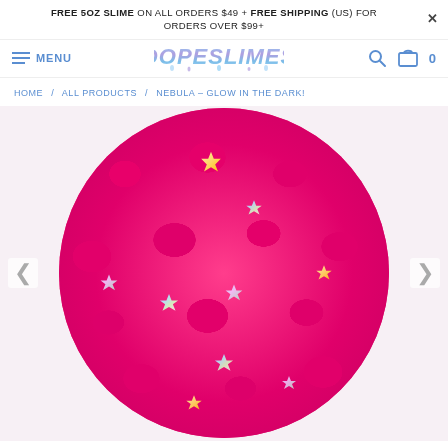FREE 5OZ SLIME ON ALL ORDERS $49 + FREE SHIPPING (US) FOR ORDERS OVER $99+
MENU
[Figure (logo): DOPESLIMES logo in blue/purple balloon-style lettering]
HOME / ALL PRODUCTS / NEBULA – GLOW IN THE DARK!
[Figure (photo): Close-up circular photo of hot pink slime with small holographic star confetti pieces embedded throughout]